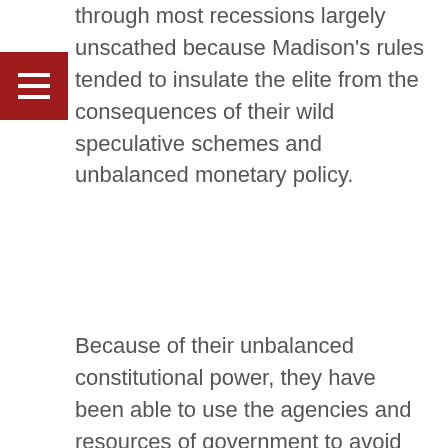through most recessions largely unscathed because Madison's rules tended to insulate the elite from the consequences of their wild speculative schemes and unbalanced monetary policy.
Because of their unbalanced constitutional power, they have been able to use the agencies and resources of government to avoid financial distress.
As in the 2008 case of the U. S. Government bailouts of banks and global corporations, throughout the history of the nation, Madison's rules allowed the elites to manipulate government tax and financial policy to benefit the elite financial interests.